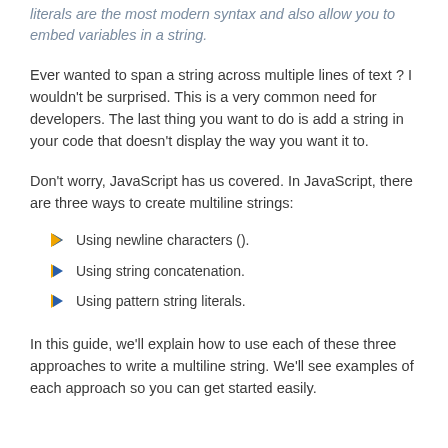literals are the most modern syntax and also allow you to embed variables in a string.
Ever wanted to span a string across multiple lines of text ? I wouldn't be surprised. This is a very common need for developers. The last thing you want to do is add a string in your code that doesn't display the way you want it to.
Don't worry, JavaScript has us covered. In JavaScript, there are three ways to create multiline strings:
Using newline characters ().
Using string concatenation.
Using pattern string literals.
In this guide, we'll explain how to use each of these three approaches to write a multiline string. We'll see examples of each approach so you can get started easily.